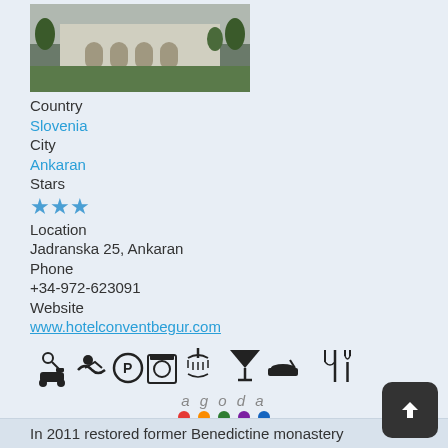[Figure (photo): Exterior photo of hotel building with green lawn, trees, and archway entrance]
Country
Slovenia
City
Ankaran
Stars
[Figure (other): Three blue star rating icons]
Location
Jadranska 25, Ankaran
Phone
+34-972-623091
Website
www.hotelconventbegur.com
[Figure (infographic): Hotel amenity icons: parking key/car, swimming, parking P, laundry, shower/spa, bar, room service, restaurant]
[Figure (logo): Agoda logo with colored dots]
No prices found
[Figure (logo): HOTEL INFO logo in orange and blue]
No prices found
In 2011 restored former Benedictine monastery